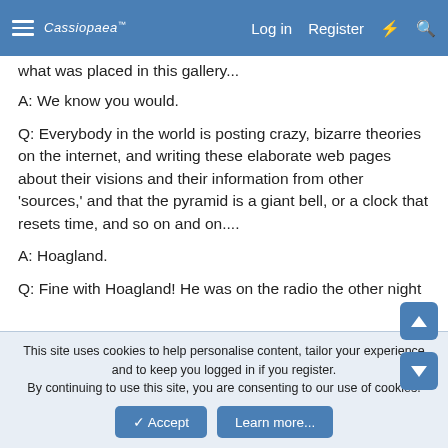Cassiopaea  Log in  Register
what was placed in this gallery...
A: We know you would.
Q: Everybody in the world is posting crazy, bizarre theories on the internet, and writing these elaborate web pages about their visions and their information from other 'sources,' and that the pyramid is a giant bell, or a clock that resets time, and so on and on....
A: Hoagland.
Q: Fine with Hoagland! He was on the radio the other night
This site uses cookies to help personalise content, tailor your experience and to keep you logged in if you register. By continuing to use this site, you are consenting to our use of cookies.
Accept  Learn more...